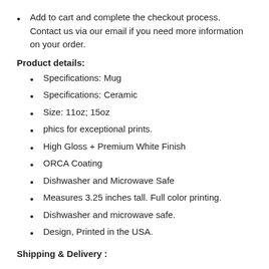Add to cart and complete the checkout process. Contact us via our email if you need more information on your order.
Product details:
Specifications: Mug
Specifications: Ceramic
Size: 11oz; 15oz
phics for exceptional prints.
High Gloss + Premium White Finish
ORCA Coating
Dishwasher and Microwave Safe
Measures 3.25 inches tall. Full color printing.
Dishwasher and microwave safe.
Design, Printed in the USA.
Shipping & Delivery :